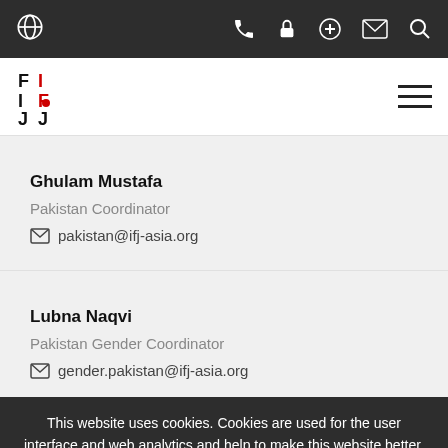IFJ website top navigation bar with globe, phone, lock, plus, mail, and search icons
[Figure (logo): IFJ logo with stacked red and black text]
Ghulam Mustafa
Pakistan Coordinator
pakistan@ifj-asia.org
Lubna Naqvi
Pakistan Gender Coordinator
gender.pakistan@ifj-asia.org
This website uses cookies. Cookies are used for the user interface and web analytics and help to make this website better.
More info's
OK